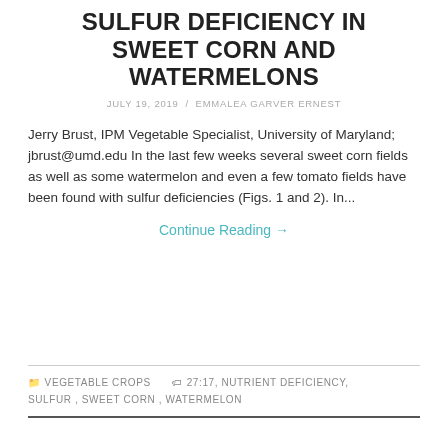SULFUR DEFICIENCY IN SWEET CORN AND WATERMELONS
JULY 19, 2019 / EMMALEA GARVER ERNEST
Jerry Brust, IPM Vegetable Specialist, University of Maryland; jbrust@umd.edu In the last few weeks several sweet corn fields as well as some watermelon and even a few tomato fields have been found with sulfur deficiencies (Figs. 1 and 2). In...
Continue Reading →
VEGETABLE CROPS   27:17, NUTRIENT DEFICIENCY, SULFUR, SWEET CORN, WATERMELON